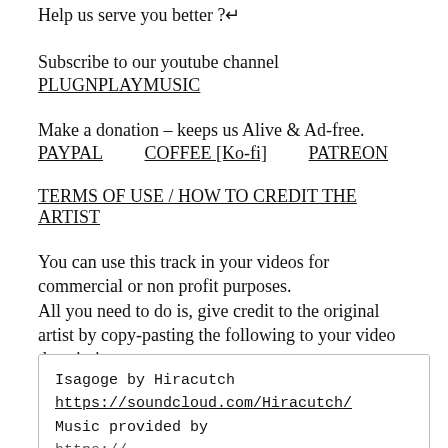Help us serve you better ?↵
Subscribe to our youtube channel
PLUGNPLAYMUSIC
Make a donation – keeps us Alive & Ad-free.
PAYPAL   COFFEE [Ko-fi]   PATREON
TERMS OF USE / HOW TO CREDIT THE ARTIST
You can use this track in your videos for commercial or non profit purposes.
All you need to do is, give credit to the original artist by copy-pasting the following to your video description.
Isagoge by Hiracutch
https://soundcloud.com/Hiracutch/
Music provided by
https://...